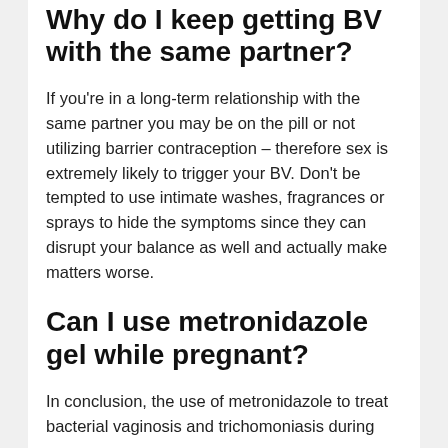Why do I keep getting BV with the same partner?
If you're in a long-term relationship with the same partner you may be on the pill or not utilizing barrier contraception – therefore sex is extremely likely to trigger your BV. Don't be tempted to use intimate washes, fragrances or sprays to hide the symptoms since they can disrupt your balance as well and actually make matters worse.
Can I use metronidazole gel while pregnant?
In conclusion, the use of metronidazole to treat bacterial vaginosis and trichomoniasis during